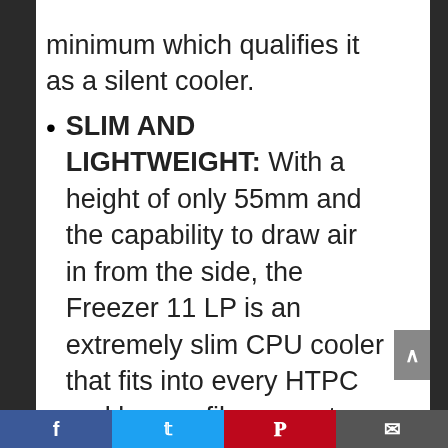minimum which qualifies it as a silent cooler.
SLIM AND LIGHTWEIGHT: With a height of only 55mm and the capability to draw air in from the side, the Freezer 11 LP is an extremely slim CPU cooler that fits into every HTPC and low profile computer. Its light weight limits the stress on the motherboard to a minimum and makes it absolutely transport safe.
WIDE COMPATIBILITY: The Freezer 11 LP features wide compatibility with Intel sockets. Its simple